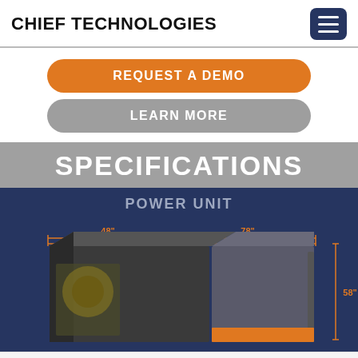CHIEF TECHNOLOGIES
REQUEST A DEMO
LEARN MORE
SPECIFICATIONS
POWER UNIT
[Figure (engineering-diagram): Power unit dimensional diagram showing a dark metal enclosure with orange dimension lines. Dimensions labeled: 48 inches width (left portion), 78 inches total width, and 58 inches height on the right side.]
Phone | Email | Facebook icons